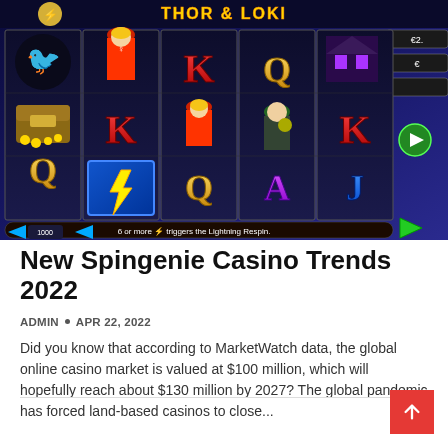[Figure (screenshot): Screenshot of a slot machine game called Thor & Loki (or similar), showing reels with symbols including K, Q, A, J letters, character figures (woman in red hood, man in green coat), a raven, treasure chest, lightning bolt on blue background, and haunted house. Bottom bar reads '6 or more [lightning bolt] triggers the Lightning Respin.']
New Spingenie Casino Trends 2022
ADMIN • APR 22, 2022
Did you know that according to MarketWatch data, the global online casino market is valued at $100 million, which will hopefully reach about $130 million by 2027? The global pandemic has forced land-based casinos to close...